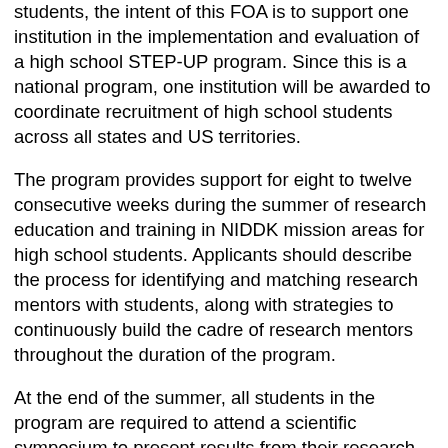students, the intent of this FOA is to support one institution in the implementation and evaluation of a high school STEP-UP program. Since this is a national program, one institution will be awarded to coordinate recruitment of high school students across all states and US territories.
The program provides support for eight to twelve consecutive weeks during the summer of research education and training in NIDDK mission areas for high school students. Applicants should describe the process for identifying and matching research mentors with students, along with strategies to continuously build the cadre of research mentors throughout the duration of the program.
At the end of the summer, all students in the program are required to attend a scientific symposium to present results from their research experience. The scientific symposium is held on the NIH campus in Bethesda, Maryland.
This FOA invites applications from applicant organizations that propose creative and innovative ways to implement and evaluate the NIDDK STEP-UP program. An evaluation plan containing formative and summative measures must be provided. Evaluation plans must answer the following questions: 1) How many students from disadvantaged backgrounds, underrepresented racial and ethnic groups,